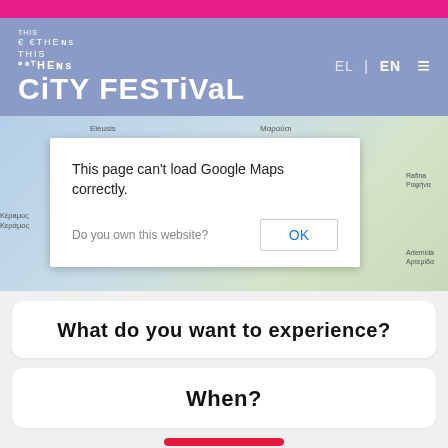THIS IS ATHENS CiTY FESTiVaL
[Figure (map): Google Maps embed of Athens area showing Eleusis, Marousi, Rafina, Keramos, Artemida locations. A dialog box overlays the map reading: 'This page can't load Google Maps correctly.' with 'Do you own this website?' and an OK button.]
This page can't load Google Maps correctly.
Do you own this website?
OK
What do you want to experience?
When?